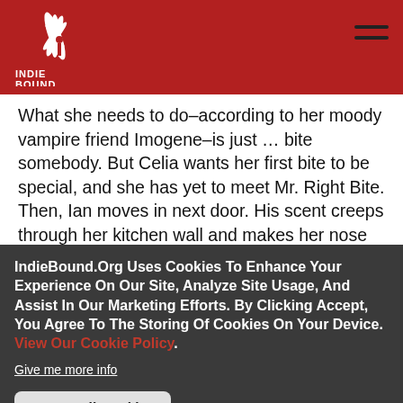IndieBound logo and navigation header
What she needs to do–according to her moody vampire friend Imogene–is just … bite somebody. But Celia wants her first bite to be special, and she has yet to meet Mr. Right Bite. Then, Ian moves in next door. His scent creeps through her kitchen wall and makes her nose tingle, but insecure Celia can't bring herself to meet the guy face-to-face.
IndieBound.Org Uses Cookies To Enhance Your Experience On Our Site, Analyze Site Usage, And Assist In Our Marketing Efforts. By Clicking Accept, You Agree To The Storing Of Cookies On Your Device. View Our Cookie Policy.
Give me more info
Accept all Cookies